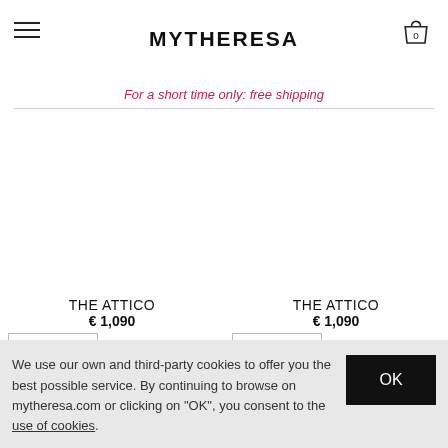MYTHERESA
For a short time only: free shipping
THE ATTICO
€ 1,090
THE ATTICO
€ 1,090
NEW ARRIVAL EXCLUSIVE
NEW ARRIVAL EXCLUSIVE
[Figure (photo): Monday Medium leather tote | The Attico]
We use our own and third-party cookies to offer you the best possible service. By continuing to browse on mytheresa.com or clicking on "OK", you consent to the use of cookies.